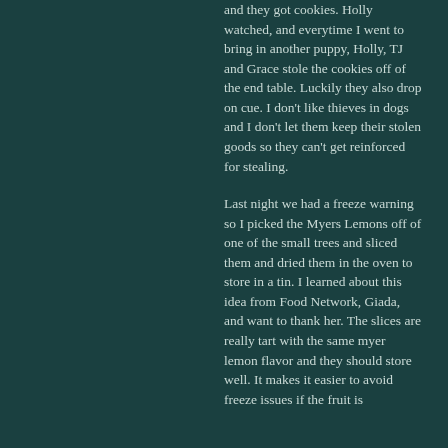and they got cookies.  Holly watched, and everytime I went to bring in another puppy, Holly, TJ and Grace stole the cookies off of the end table.  Luckily they also drop on cue. I don't like thieves in dogs and I don't let them keep their stolen goods so they can't get reinforced for stealing.
Last night we had a freeze warning so I picked the Myers Lemons off of one of the small trees and sliced them and dried them in the oven to store in a tin.  I learned about this idea from Food Network, Giada, and want to thank her.  The slices are really tart with the same myer lemon flavor and they should store well.  It makes it easier to avoid freeze issues if the fruit is